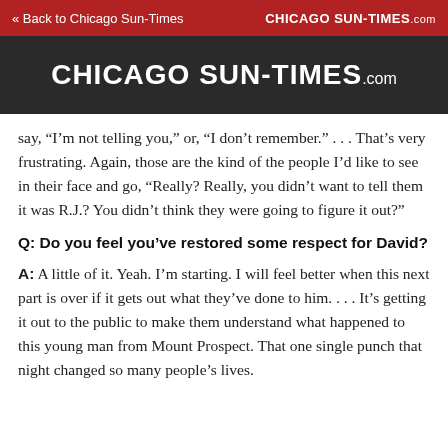« Back to Chicago Sun-Times | CHICAGO SUN-TIMES.com
CHICAGO SUN-TIMES.com
say, “I’m not telling you,” or, “I don’t remember.” . . . That’s very frustrating. Again, those are the kind of the people I’d like to see in their face and go, “Really? Really, you didn’t want to tell them it was R.J.? You didn’t think they were going to figure it out?”
Q: Do you feel you’ve restored some respect for David?
A: A little of it. Yeah. I’m starting. I will feel better when this next part is over if it gets out what they’ve done to him. . . . It’s getting it out to the public to make them understand what happened to this young man from Mount Prospect. That one single punch that night changed so many people’s lives.